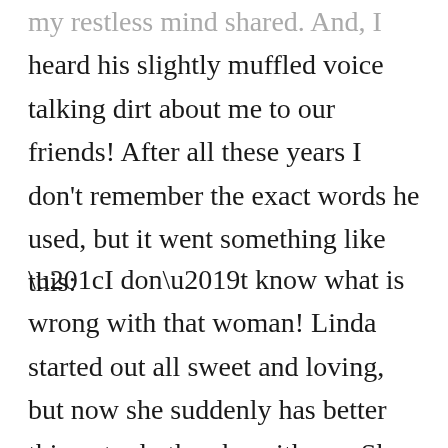my restless mind shared. And, I heard his slightly muffled voice talking dirt about me to our friends! After all these years I don't remember the exact words he used, but it went something like this:
“I don’t know what is wrong with that woman! Linda started out all sweet and loving, but now she suddenly has better things to do than be with me. She SAYS